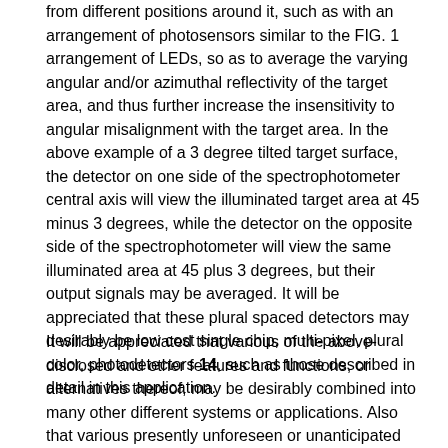from different positions around it, such as with an arrangement of photosensors similar to the FIG. 1 arrangement of LEDs, so as to average the varying angular and/or azimuthal reflectivity of the target area, and thus further increase the insensitivity to angular misalignment with the target area. In the above example of a 3 degree tilted target surface, the detector on one side of the spectrophotometer central axis will view the illuminated target area at 45 minus 3 degrees, while the detector on the opposite side of the spectrophotometer will view the same illuminated area at 45 plus 3 degrees, but their output signals may be averaged. It will be appreciated that these plural spaced detectors may desirably be low cost single chip, multi-pixel, plural color, photodetectors 14, such as those described in detail in this application.
It will be appreciated that various of the above-disclosed and other features and functions, or alternatives thereof, may be desirably combined into many other different systems or applications. Also that various presently unforeseen or unanticipated alternatives, modifications, variations or improvements therein may be subsequently made by those skilled in the art which are also intended to